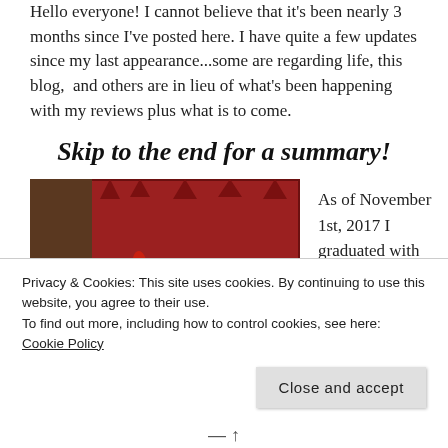Hello everyone! I cannot believe that it's been nearly 3 months since I've posted here. I have quite a few updates since my last appearance...some are regarding life, this blog,  and others are in lieu of what's been happening with my reviews plus what is to come.
Skip to the end for a summary!
[Figure (photo): A Minion character wearing a gladiator helmet sitting in front of a red throne-like chair, from Despicable Me / Minions.]
As of November 1st, 2017 I graduated with
Privacy & Cookies: This site uses cookies. By continuing to use this website, you agree to their use.
To find out more, including how to control cookies, see here: Cookie Policy
Close and accept